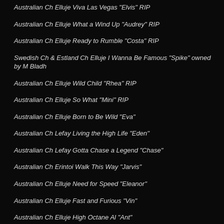Australian Ch Elluje Viva Las Vegas "Elvis" RIP
Australian Ch Elluje What a Wind Up "Audrey" RIP
Australian Ch Elluje Ready to Rumble "Costa" RIP
Swedish Ch & Estland Ch Elluje I Wanna Be Famous "Spike" owned by M Bladh
Australian Ch Elluje Wild Child "Rhea" RIP
Australian Ch Elluje So What "Mini" RIP
Australian Ch Elluje Born to Be Wild "Eva"
Australian Ch Lefay Living the High Life "Eden"
Australian Ch Lefay Gotta Chase a Legend "Chase"
Australian Ch Erintoi Walk This Way "Jarvis"
Australian Ch Elluje Need for Speed "Eleanor"
Australian Ch Elluje Fast and Furious "Vin"
Australian Ch Elluje High Octane Al "Ant"
The Chihuahuas
Australian Ch Espero Mexican Mafia "Hardy" RIP